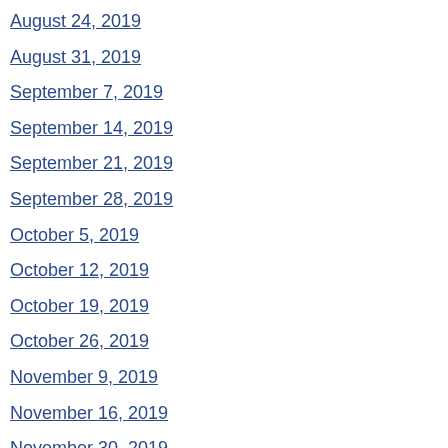August 24, 2019
August 31, 2019
September 7, 2019
September 14, 2019
September 21, 2019
September 28, 2019
October 5, 2019
October 12, 2019
October 19, 2019
October 26, 2019
November 9, 2019
November 16, 2019
November 30, 2019
December 6, 2019